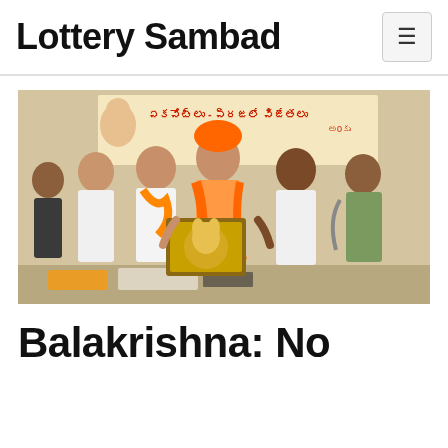Lottery Sambad
[Figure (photo): Group of men standing together, some wearing orange/saffron scarves and traditional attire, holding a framed religious artwork depicting Ganesha. Background shows a Telugu-language poster/banner. The central figure wears a saffron turban and shawl.]
Balakrishna: No